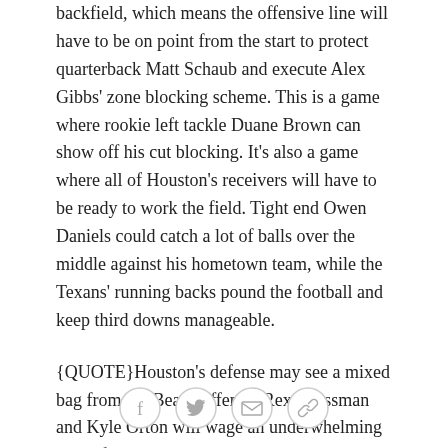backfield, which means the offensive line will have to be on point from the start to protect quarterback Matt Schaub and execute Alex Gibbs' zone blocking scheme. This is a game where rookie left tackle Duane Brown can show off his cut blocking. It's also a game where all of Houston's receivers will have to be ready to work the field. Tight end Owen Daniels could catch a lot of balls over the middle against his hometown team, while the Texans' running backs pound the football and keep third downs manageable.
{QUOTE}Houston's defense may see a mixed bag from the Bears' offense. Rex Grossman and Kyle Orton will wage an underwhelming battle for a starting job at quarterback. Grossman showed potential in '06, but last year proved he was prone to big errors. With defensive end Mario Williams in his face, Grossman
[Figure (other): Social sharing icons: Facebook, Twitter, Email, Link]